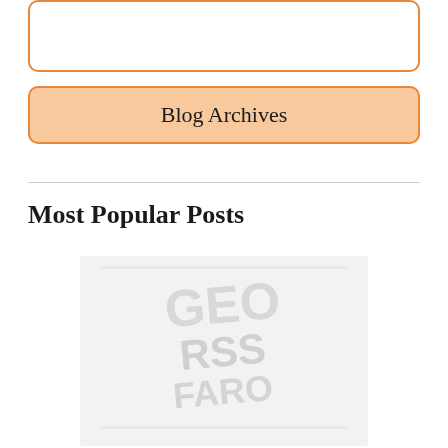Blog Archives
Most Popular Posts
[Figure (illustration): Faded/watermarked thumbnail image placeholder for a blog post, showing light gray indistinct content]